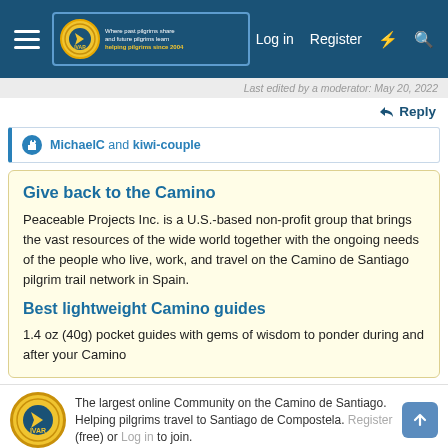Forum header navigation: hamburger menu, logo (Where past pilgrims share and future pilgrims learn, helping pilgrims since 2004), Log in, Register, lightning icon, search icon
Last edited by a moderator: May 20, 2022
Reply
MichaelC and kiwi-couple
Give back to the Camino
Peaceable Projects Inc. is a U.S.-based non-profit group that brings the vast resources of the wide world together with the ongoing needs of the people who live, work, and travel on the Camino de Santiago pilgrim trail network in Spain.
Best lightweight Camino guides
1.4 oz (40g) pocket guides with gems of wisdom to ponder during and after your Camino
The largest online Community on the Camino de Santiago. Helping pilgrims travel to Santiago de Compostela. Register (free) or Log in to join.